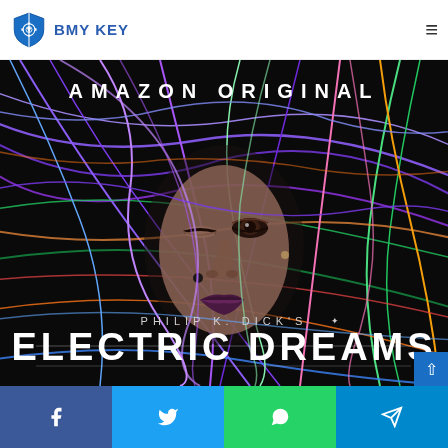BMY KEY
[Figure (photo): Amazon Original promotional poster for Philip K. Dick's Electric Dreams showing a woman's face surrounded by colorful wires on a dark background, with text 'AMAZON ORIGINAL' at the top and 'PHILIP K. DICK'S ELECTRIC DREAMS' at the bottom.]
Social share buttons: Facebook, Twitter, WhatsApp, Telegram